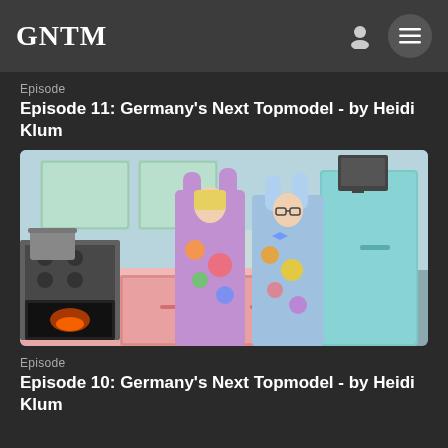GNTM
Episode
Episode 11: Germany's Next Topmodel - by Heidi Klum
[Figure (photo): Two people wearing colorful cartoon bunny-themed outfits standing in a retro-style pastel pink kitchen with a mint green refrigerator. The woman on the left wears a purple bunny dress, the man on the right wears a light blue bunny suit. Kitchen appliances including a stove and pots are visible.]
Episode
Episode 10: Germany's Next Topmodel - by Heidi Klum